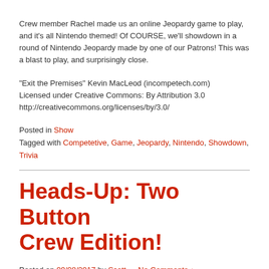Crew member Rachel made us an online Jeopardy game to play, and it's all Nintendo themed! Of COURSE, we'll showdown in a round of Nintendo Jeopardy made by one of our Patrons! This was a blast to play, and surprisingly close.
“Exit the Premises” Kevin MacLeod (incompetech.com) Licensed under Creative Commons: By Attribution 3.0 http://creativecommons.org/licenses/by/3.0/
Posted in Show
Tagged with Competetive, Game, Jeopardy, Nintendo, Showdown, Trivia
Heads-Up: Two Button Crew Edition!
Posted on 09/08/2017 by Scott — No Comments ↓